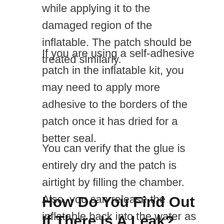while applying it to the damaged region of the inflatable. The patch should be treated similarly.
If you are using a self-adhesive patch in the inflatable kit, you may need to apply more adhesive to the borders of the patch once it has dried for a better seal.
You can verify that the glue is entirely dry and the patch is airtight by filling the chamber. Also, you can release the inflatable back into the water as you are confident that it is leak-free when fully inflated.
How Do You Find Out If There Is A Leak?